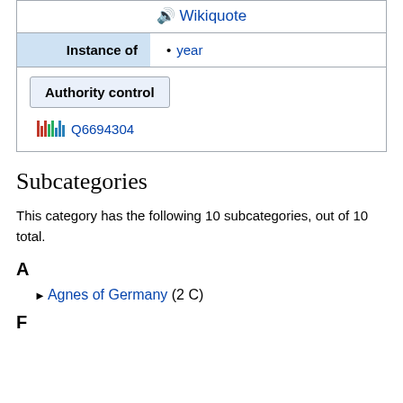Wikiquote
| Instance of | year |
| --- | --- |
Authority control
Q6694304
Subcategories
This category has the following 10 subcategories, out of 10 total.
A
Agnes of Germany (2 C)
F